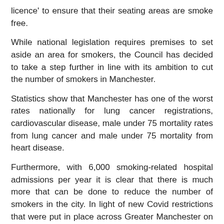licence' to ensure that their seating areas are smoke free.
While national legislation requires premises to set aside an area for smokers, the Council has decided to take a step further in line with its ambition to cut the number of smokers in Manchester.
Statistics show that Manchester has one of the worst rates nationally for lung cancer registrations, cardiovascular disease, male under 75 mortality rates from lung cancer and male under 75 mortality from heart disease.
Furthermore, with 6,000 smoking-related hospital admissions per year it is clear that there is much more that can be done to reduce the number of smokers in the city. In light of new Covid restrictions that were put in place across Greater Manchester on July 30, it is important to note that people are still able to go to pubs and restaurants with members of their household. For more information on the new guidelines, follow this link.